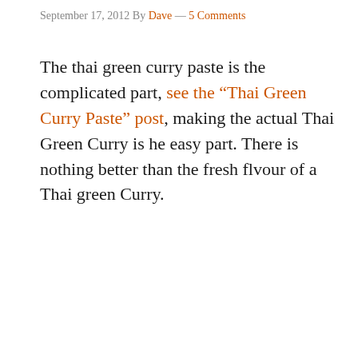September 17, 2012 By Dave — 5 Comments
The thai green curry paste is the complicated part, see the “Thai Green Curry Paste” post, making the actual Thai Green Curry is he easy part. There is nothing better than the fresh flvour of a Thai green Curry.